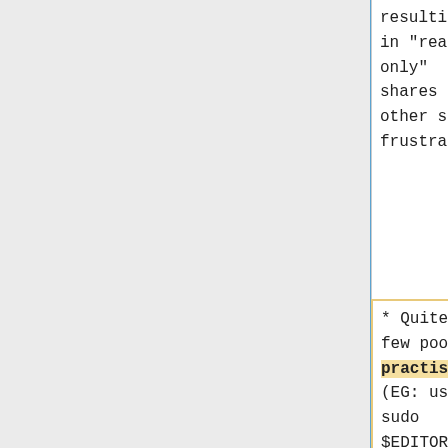| (left col — continuing) | (right col — continuing) |
| --- | --- |
| resulting
in "read
only"
shares and
other such
frustrations | resulting
in "read
only"
shares and
other such
frustrations |
| * Quite a
few poor
practises
(EG: using
sudo
$EDITOR
$FILE,
instead of
sudoedit).
[https://sup
eruser.com/q
uestions/785
187/sudoedit
-why-use-it-
over-sudo-
id"... | * Quite a
few poor
practices
(EG: using
sudo
$EDITOR
$FILE,
instead of
sudoedit).
[https://sup
eruser.com/q
uestions/785
187/sudoedit
-why-use-it-
over-sudo-
id"... |